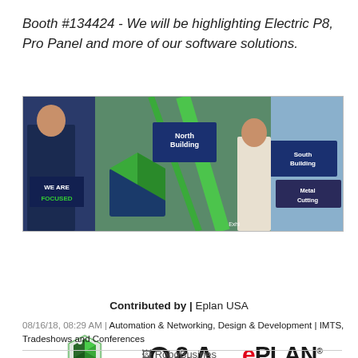Booth #134424 - We will be highlighting Electric P8, Pro Panel and more of our software solutions.
[Figure (photo): IMTS 2018 trade show floor photo showing building directional signs including North Building and South Building banners, with WE ARE FOCUSED sign visible, people and exhibits in background.]
[Figure (logo): IMTS2018 logo with green cube/diamond icon, Q&A text in large bold, and EPLAN logo in red and black with underline bars]
Contributed by | Eplan USA
08/16/18, 08:29 AM | Automation & Networking, Design & Development | IMTS, Tradeshows and Conferences
[Figure (logo): RoBoBusines logo (partially visible)]